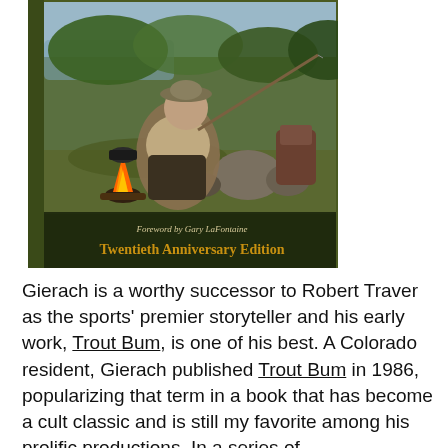[Figure (photo): Book cover of 'Trout Bum' Twentieth Anniversary Edition with foreword by Gary LaFontaine. Shows an elderly man in a hat crouching by a campfire with a fishing rod near a stream, surrounded by green foliage. Dark olive green cover with gold text.]
Gierach is a worthy successor to Robert Traver as the sports' premier storyteller and his early work, Trout Bum, is one of his best. A Colorado resident, Gierach published Trout Bum in 1986, popularizing that term in a book that has become a cult classic and is still my favorite among his prolific productions. In a series of